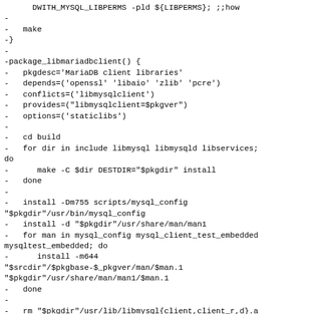DWITH_MYSQL_LIBPERMS -pld ${LIBPERMS}; ;;how
-
-   make
-}
-
-package_libmariadbclient() {
-   pkgdesc='MariaDB client libraries'
-   depends=('openssl' 'libaio' 'zlib' 'pcre')
-   conflicts=('libmysqlclient')
-   provides=("libmysqlclient=$pkgver")
-   options=('staticlibs')
-
-   cd build
-   for dir in include libmysql libmysqld libservices; do
-      make -C $dir DESTDIR="$pkgdir" install
-   done
-
-   install -Dm755 scripts/mysql_config "$pkgdir"/usr/bin/mysql_config
-   install -d "$pkgdir"/usr/share/man/man1
-   for man in mysql_config mysql_client_test_embedded mysqltest_embedded; do
-      install -m644 "$srcdir"/$pkgbase-$_pkgver/man/$man.1 "$pkgdir"/usr/share/man/man1/$man.1
-   done
-
-   rm "$pkgdir"/usr/lib/libmysql{client,client_r,d}.a
-}